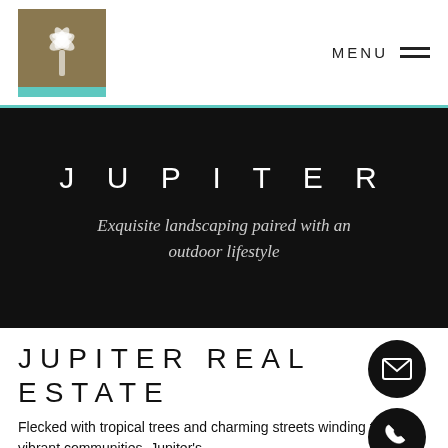MENU
JUPITER
Exquisite landscaping paired with an outdoor lifestyle
JUPITER REAL ESTATE
Flecked with tropical trees and charming streets winding through vibrant communities, Jupiter's